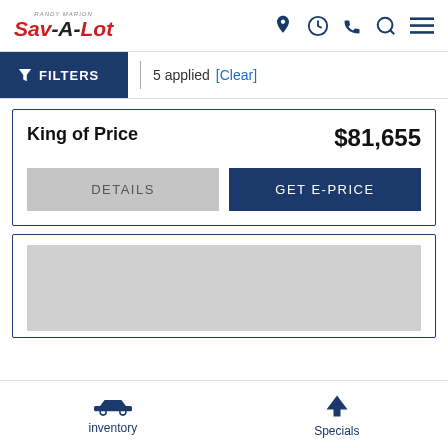[Figure (logo): Randy Marion Sav-A-Lot dealership logo in red and black italic text]
[Figure (infographic): Header navigation icons: location pin, clock, phone, search, hamburger menu in navy blue]
FILTERS | 5 applied [Clear]
King of Price   $81,655
DETAILS
GET E-PRICE
[Figure (photo): Gray placeholder image for vehicle listing]
inventory
Specials